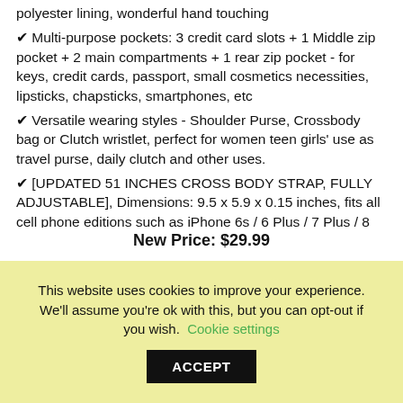polyester lining, wonderful hand touching
✔ Multi-purpose pockets: 3 credit card slots + 1 Middle zip pocket + 2 main compartments + 1 rear zip pocket - for keys, credit cards, passport, small cosmetics necessities, lipsticks, chapsticks, smartphones, etc
✔ Versatile wearing styles - Shoulder Purse, Crossbody bag or Clutch wristlet, perfect for women teen girls' use as travel purse, daily clutch and other uses.
✔ [UPDATED 51 INCHES CROSS BODY STRAP, FULLY ADJUSTABLE], Dimensions: 9.5 x 5.9 x 0.15 inches, fits all cell phone editions such as iPhone 6s / 6 Plus / 7 Plus / 8 Plus / X, etc
New Price: $29.99
This website uses cookies to improve your experience. We'll assume you're ok with this, but you can opt-out if you wish. Cookie settings ACCEPT